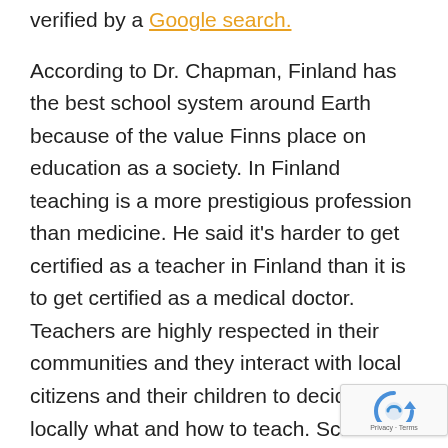verified by a Google search.
According to Dr. Chapman, Finland has the best school system around Earth because of the value Finns place on education as a society. In Finland teaching is a more prestigious profession than medicine. He said it's harder to get certified as a teacher in Finland than it is to get certified as a medical doctor. Teachers are highly respected in their communities and they interact with local citizens and their children to decide locally what and how to teach. Schools are locally controlled and there is little or no teaching to the test or anything like the No Child Left Behind scheme, hatched by the disingenuous anti-intellectual Bush II